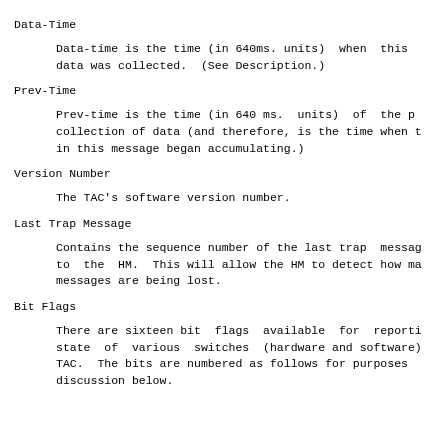Data-Time
Data-time is the time (in 640ms. units)  when  this
data was collected.  (See Description.)
Prev-Time
Prev-time is the time (in 640 ms.  units)  of  the p
collection of data (and therefore, is the time when t
in this message began accumulating.)
Version Number
The TAC's software version number.
Last Trap Message
Contains the sequence number of the last trap  messag
to  the  HM.  This will allow the HM to detect how ma
messages are being lost.
Bit Flags
There are sixteen bit  flags  available  for  reporti
state  of  various  switches  (hardware and software)
TAC.  The bits are numbered as follows for purposes
discussion below.